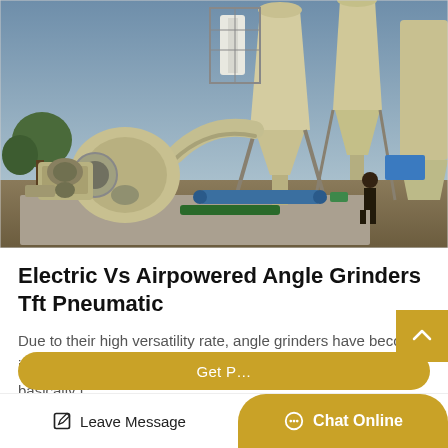[Figure (photo): Industrial grinding/milling machinery installation outdoors — large cream/beige colored mill with cyclone separators, blower/fan units, and screw conveyors on a concrete pad, with trees and cloudy sky in background.]
Electric Vs Airpowered Angle Grinders Tft Pneumatic
Due to their high versatility rate, angle grinders have become indispensable in industries across the board. there are basically t...